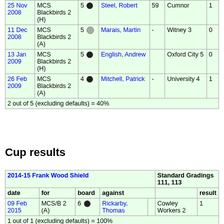| date | for | board | against |  | opponent | result |
| --- | --- | --- | --- | --- | --- | --- |
| 25 Nov 2008 | MCS Blackbirds 2 (H) | 5 ● | Steel, Robert | 59 | Cumnor | 1 |
| 11 Dec 2008 | MCS Blackbirds 2 (A) | 5 ○ | Marais, Martin | - | Witney 3 | 0 |
| 13 Jan 2009 | MCS Blackbirds 2 (H) | 5 ● | English, Andrew |  | Oxford City 5 | 0 |
| 26 Feb 2009 | MCS Blackbirds 2 (A) | 4 ● | Mitchell, Patrick | - | University 4 | 1 |
| 2 out of 5 (excluding defaults) = 40% |  |  |  |  |  |  |
Cup results
| 2014-15 Frank Wood Shield | Standard Gradings 111, 113 |
| --- | --- |
| date | for | board | against |  | result |
| 09 Feb 2015 | MCS/B 2 (A) | 6 ● | Rickarby, Thomas | Cowley Workers 2 | 1 |
| 1 out of 1 (excluding defaults) = 100% |